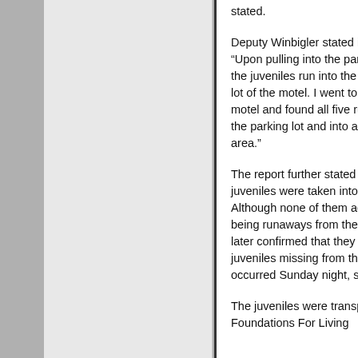stated.
Deputy Winbigler stated in the report, “Upon pulling into the parking lot I saw the juveniles run into the back parking lot of the motel. I went to the rear of the motel and found all five running across the parking lot and into a wooded area.”
The report further stated that the juveniles were taken into custody. Although none of them admitted to being runaways from the facility, it was later confirmed that they were the juveniles missing from the incident that occurred Sunday night, said the report.
The juveniles were transported back to Foundations For Living